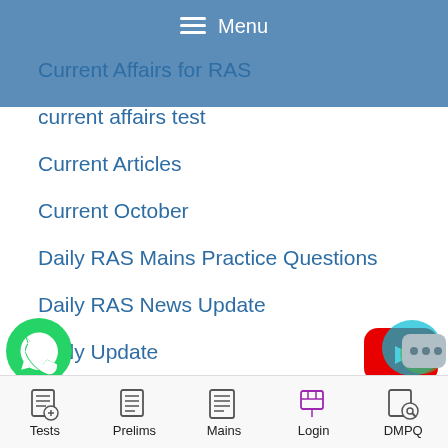≡ Menu
Current Affairs for RAS
current affairs test
Current Articles
Current October
Daily RAS Mains Practice Questions
Daily RAS News Update
Daily Update
Dec 2017
Dec 2018
Dec 2019
Dec 2021
December 2017
[Figure (logo): YouTube play button icon (red rectangle with white triangle)]
[Figure (logo): WhatsApp green icon]
[Figure (logo): Chat bubble icon]
Tests   Prelims   Mains   Login   DMPQ